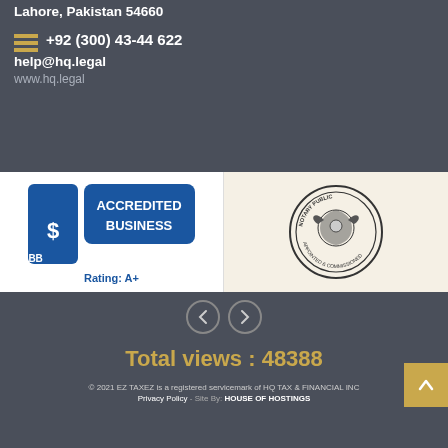Lahore, Pakistan 54660
+92 (300) 43-44 622
help@hq.legal
www.hq.legal
[Figure (logo): BBB Accredited Business badge with Rating: A+]
[Figure (logo): Notary Public official seal/stamp (circular emblem)]
Total views : 48388
© 2021 EZ TAXEZ is a registered servicemark of HQ TAX & FINANCIAL INC Privacy Policy - Site By: HOUSE OF HOSTINGS